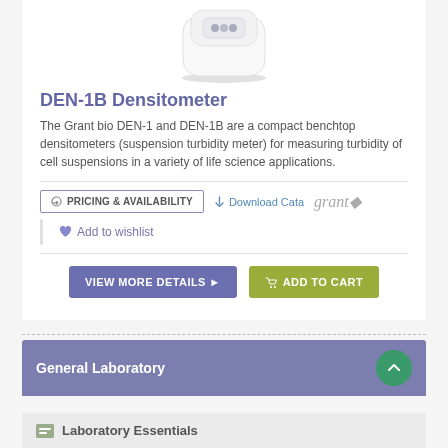[Figure (photo): Product photo of DEN-1B Densitometer device, white compact benchtop unit]
DEN-1B Densitometer
The Grant bio DEN-1 and DEN-1B are a compact benchtop densitometers (suspension turbidity meter) for measuring turbidity of cell suspensions in a variety of life science applications.
PRICING & AVAILABILITY | Download Cata grant | Add to wishlist
VIEW MORE DETAILS ▶ | ADD TO CART
Page 1 of 1 (1 products)
General Laboratory
Laboratory Essentials